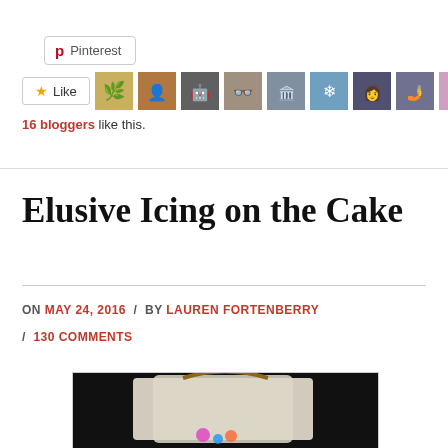[Figure (screenshot): Pinterest share button with Pinterest logo P icon and text 'Pinterest']
[Figure (screenshot): Like button with star icon and 'Like' text, followed by 10 blogger avatar thumbnails]
16 bloggers like this.
Elusive Icing on the Cake
ON MAY 24, 2016 / BY LAUREN FORTENBERRY / 130 COMMENTS
[Figure (photo): Partial photo of what appears to be a white gift bag or package on a dark background, with colorful decorations visible at the bottom]